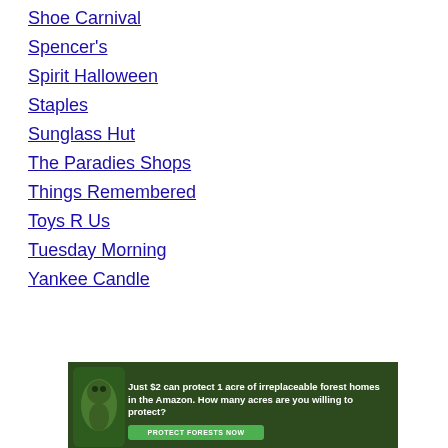Shoe Carnival
Spencer's
Spirit Halloween
Staples
Sunglass Hut
The Paradies Shops
Things Remembered
Toys R Us
Tuesday Morning
Yankee Candle
[Figure (photo): Advertisement banner with forest/Amazon conservation message: 'Just $2 can protect 1 acre of irreplaceable forest homes in the Amazon. How many acres are you willing to protect?' with a green 'PROTECT FORESTS NOW' button and animal image on dark green background.]